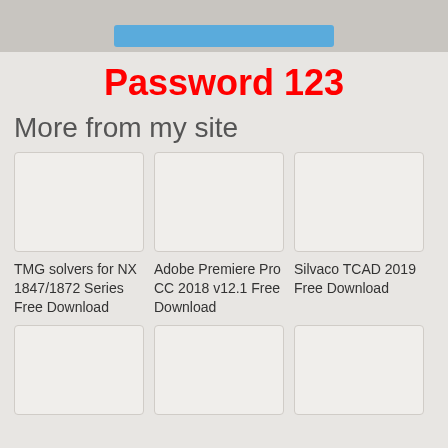[Figure (screenshot): Top banner with blue button element on gray background]
Password 123
More from my site
[Figure (photo): Thumbnail placeholder for TMG solvers for NX 1847/1872 Series Free Download]
TMG solvers for NX 1847/1872 Series Free Download
[Figure (photo): Thumbnail placeholder for Adobe Premiere Pro CC 2018 v12.1 Free Download]
Adobe Premiere Pro CC 2018 v12.1 Free Download
[Figure (photo): Thumbnail placeholder for Silvaco TCAD 2019 Free Download]
Silvaco TCAD 2019 Free Download
[Figure (photo): Thumbnail placeholder row 2 item 1]
[Figure (photo): Thumbnail placeholder row 2 item 2]
[Figure (photo): Thumbnail placeholder row 2 item 3]